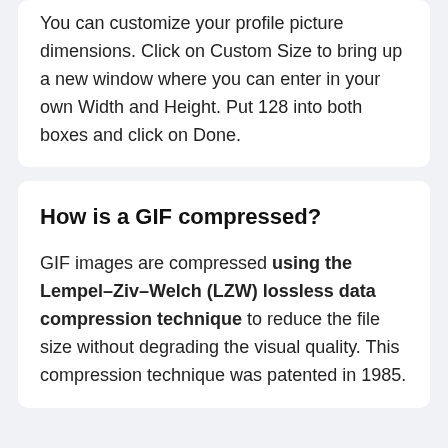You can customize your profile picture dimensions. Click on Custom Size to bring up a new window where you can enter in your own Width and Height. Put 128 into both boxes and click on Done.
How is a GIF compressed?
GIF images are compressed using the Lempel–Ziv–Welch (LZW) lossless data compression technique to reduce the file size without degrading the visual quality. This compression technique was patented in 1985.